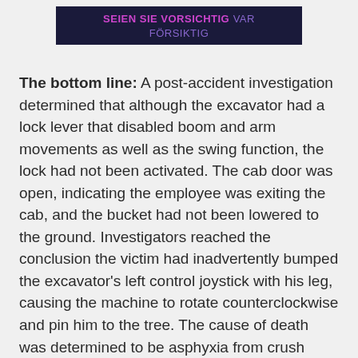SEIEN SIE VORSICHTIG VAR FÖRSIKTIG
The bottom line: A post-accident investigation determined that although the excavator had a lock lever that disabled boom and arm movements as well as the swing function, the lock had not been activated. The cab door was open, indicating the employee was exiting the cab, and the bucket had not been lowered to the ground. Investigators reached the conclusion the victim had inadvertently bumped the excavator's left control joystick with his leg, causing the machine to rotate counterclockwise and pin him to the tree. The cause of death was determined to be asphyxia from crush injuries and thoracic compression.